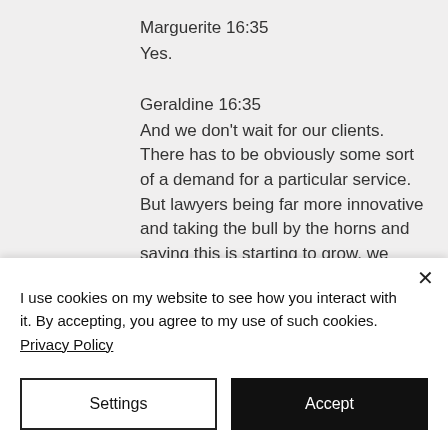Marguerite  16:35
Yes.
Geraldine  16:35
And we don't wait for our clients. There has to be obviously some sort of a demand for a particular service. But lawyers being far more innovative and taking the bull by the horns and saying this is starting to grow, we might not have that huge demand yet, but we're going
I use cookies on my website to see how you interact with it. By accepting, you agree to my use of such cookies. Privacy Policy
Settings
Accept